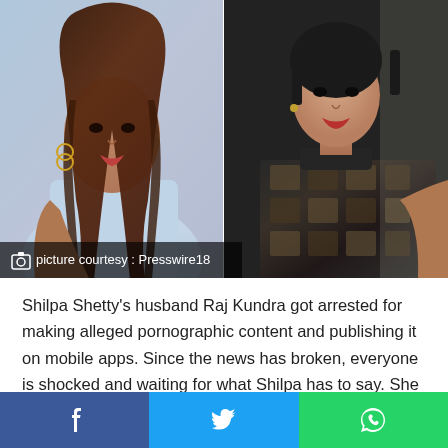[Figure (photo): Two women side by side: left woman with long brown wavy hair in a light blue sleeveless top; right woman in a black textured/sequined outfit with short dark hair. Photo credit: Presswire18]
picture courtesy : Presswire18
Shilpa Shetty's husband Raj Kundra got arrested for making alleged pornographic content and publishing it on mobile apps. Since the news has broken, everyone is shocked and waiting for what Shilpa has to say. She has totally disappeared and as of now no one knows about her next step.
[Figure (infographic): Social share bar with Facebook (blue), Twitter (light blue), and WhatsApp (green) icons]